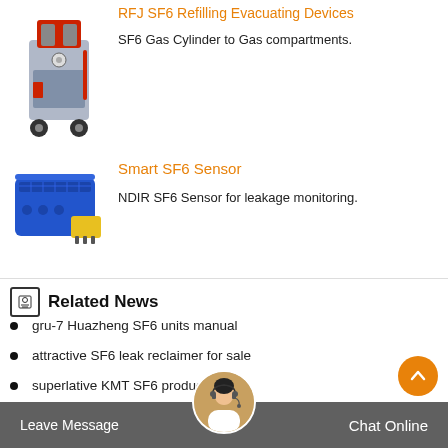[Figure (photo): RFJ SF6 Refilling Evacuating Device on wheels with red and grey components]
RFJ SF6 Refilling Evacuating Devices
SF6 Gas Cylinder to Gas compartments.
[Figure (photo): Smart SF6 Sensor - blue rectangular device with yellow connector]
Smart SF6 Sensor
NDIR SF6 Sensor for leakage monitoring.
Related News
gru-7 Huazheng SF6 units manual
attractive SF6 leak reclaimer for sale
superlative KMT SF6 products price
L 246 sung SF6 vacuum factory
dilo SF6 analyzer kit price
Leave Message   Chat Online